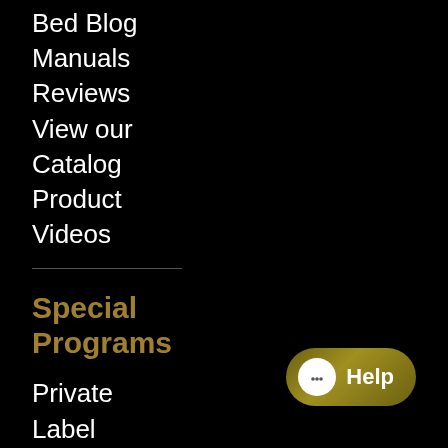Bed Blog
Manuals
Reviews
View our
Catalog
Product
Videos
Special Programs
Private
Label
Program
Hotel &
Hospitality
[Figure (other): Help chat button with speech bubble icon and 'Help' text, gold/olive colored rounded rectangle button]